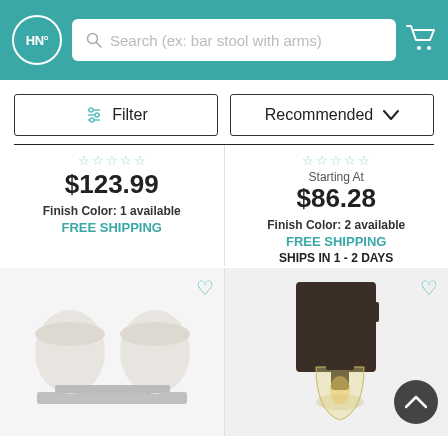HN° Search (ex: bar stool with arms)
Filter | Recommended
$123.99
Finish Color: 1 available
FREE SHIPPING
Starting At
$86.28
Finish Color: 2 available
FREE SHIPPING
SHIPS IN 1 - 2 DAYS
[Figure (photo): Two-bulb bathroom vanity light fixture with white cylindrical glass shades and chrome/brushed nickel base]
[Figure (photo): Single-bulb wall sconce with dark bronze/espresso square backplate and clear glass bell-shaped shade with Edison bulb]